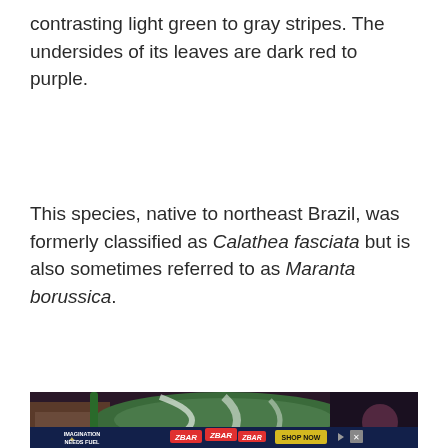contrasting light green to gray stripes. The undersides of its leaves are dark red to purple.
This species, native to northeast Brazil, was formerly classified as Calathea fasciata but is also sometimes referred to as Maranta borussica.
[Figure (photo): A close-up photo of a plant leaf with green and white striped pattern, surrounded by dark reddish-purple background and soil/mulch visible. An advertisement banner for ZBAR appears at the bottom of the image.]